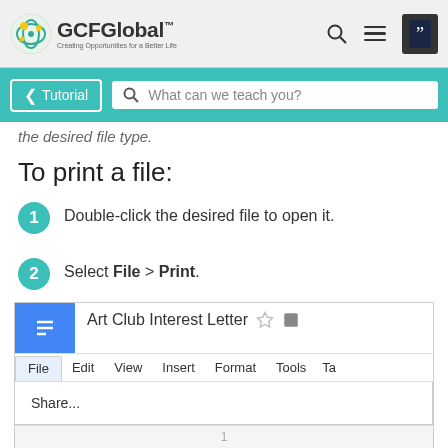GCFGlobal - Creating Opportunities for a Better Life
the desired file type.
To print a file:
1. Double-click the desired file to open it.
2. Select File > Print.
[Figure (screenshot): Screenshot of Google Docs interface showing 'Art Club Interest Letter' document with File menu open, displaying Share... option]